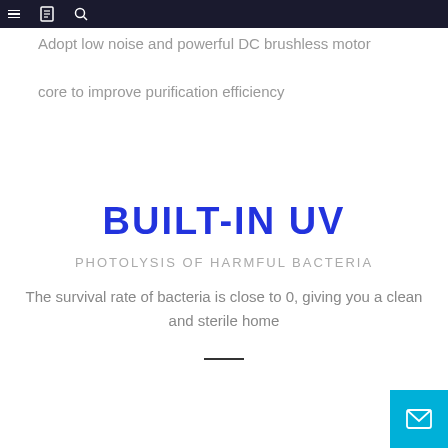Navigation bar with menu, bookmark, and search icons
Adopt low noise and powerful DC brushless motor
core to improve purification efficiency
BUILT-IN UV
PHOTOLYSIS OF HARMFUL BACTERIA
The survival rate of bacteria is close to 0, giving you a clean and sterile home